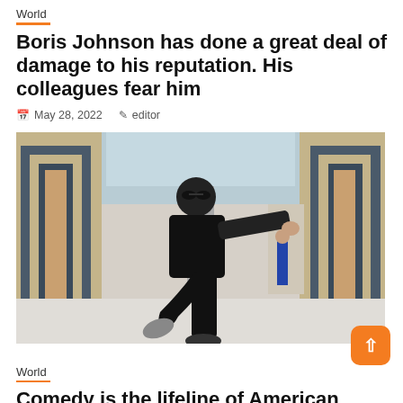World
Boris Johnson has done a great deal of damage to his reputation. His colleagues fear him
📅 May 28, 2022   👤 editor
[Figure (photo): Man in black t-shirt and sunglasses doing a high kick in an exhibition hall with geometric wall decorations in gold and gray]
World
Comedy is the lifeline of American intelligence, but the thinking police